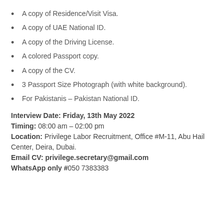A copy of Residence/Visit Visa.
A copy of UAE National ID.
A copy of the Driving License.
A colored Passport copy.
A copy of the CV.
3 Passport Size Photograph (with white background).
For Pakistanis – Pakistan National ID.
Interview Date: Friday, 13th May 2022
Timing: 08:00 am – 02:00 pm
Location: Privilege Labor Recruitment, Office #M-11, Abu Hail Center, Deira, Dubai.
Email CV: privilege.secretary@gmail.com
WhatsApp only #050 7383383